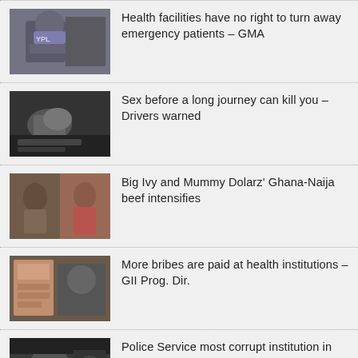Health facilities have no right to turn away emergency patients – GMA
Sex before a long journey can kill you – Drivers warned
Big Ivy and Mummy Dolarz' Ghana-Naija beef intensifies
More bribes are paid at health institutions – GII Prog. Dir.
Police Service most corrupt institution in Ghana – Survey
Damongo Nursing Training College teachers on strike to demand allowances
Parliament approves $750 million loan agreement with Afrexim Bank